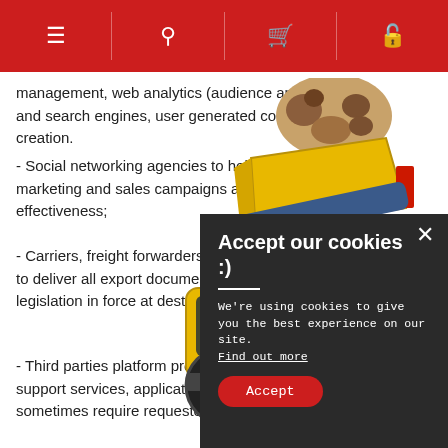Navigation header with menu, search, cart, and account icons
(... ) management, web analytics (audience analysis) and search engines, user generated content creation.
- Social networking agencies to help us marketing and sales campaigns and an effectiveness;
- Carriers, freight forwarders, customs in order to deliver all export documents with the legislation in force at destination;
- Third parties platform providers, technical support services, applications that may sometimes require requested tasks)
- Payment service providers for the purpose of a verifying your information with you.
[Figure (photo): Yellow underground mining loader/wheel loader machine with bucket raised, overlaid on the page]
Accept our cookies :)
We're using cookies to give you the best experience on our site. Find out more
Accept